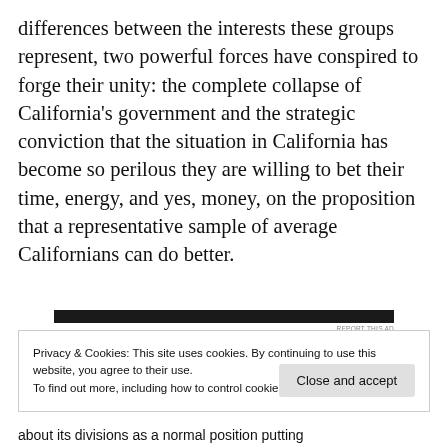differences between the interests these groups represent, two powerful forces have conspired to forge their unity: the complete collapse of California's government and the strategic conviction that the situation in California has become so perilous they are willing to bet their time, energy, and yes, money, on the proposition that a representative sample of average Californians can do better.
[Figure (other): Dark advertisement banner bar with 'REPORT THIS AD' label below it]
Privacy & Cookies: This site uses cookies. By continuing to use this website, you agree to their use.
To find out more, including how to control cookies, see here: Cookie Policy
[Close and accept button]
about its divisions as a normal position putting